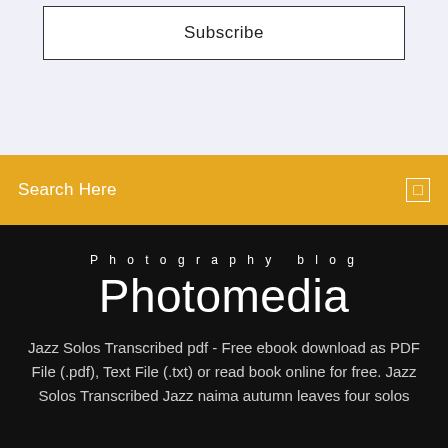[Figure (screenshot): Subscribe button box with border on light lavender background]
Subscribe
Search Here
Photography blog
Photomedia
Jazz Solos Transcribed pdf - Free ebook download as PDF File (.pdf), Text File (.txt) or read book online for free. Jazz Solos Transcribed Jazz naima autumn leaves four solos